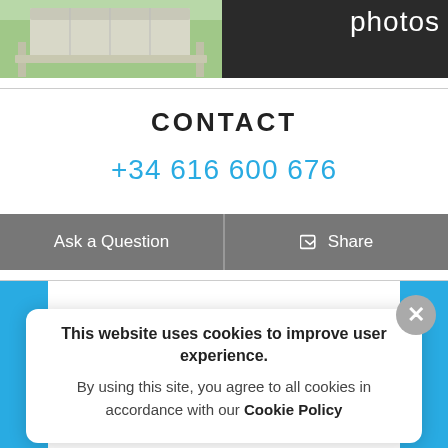[Figure (photo): Two photos side by side: left shows a garden bench/pergola with green grass; right shows a dark room interior with text 'photos']
CONTACT
+34 616 600 676
Ask a Question   Share
This website uses cookies to improve user experience. By using this site, you agree to all cookies in accordance with our Cookie Policy